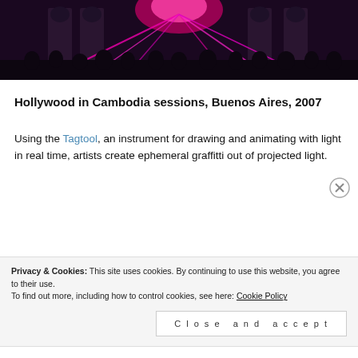[Figure (photo): Night-time light art installation on a building facade with pink/purple laser beams and crowd of silhouetted viewers]
Hollywood in Cambodia sessions, Buenos Aires, 2007
Using the Tagtool, an instrument for drawing and animating with light in real time, artists create ephemeral graffitti out of projected light.
Privacy & Cookies: This site uses cookies. By continuing to use this website, you agree to their use. To find out more, including how to control cookies, see here: Cookie Policy
Close and accept